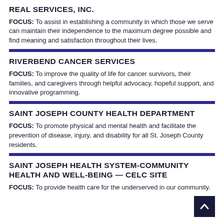REAL SERVICES, INC.
FOCUS: To assist in establishing a community in which those we serve can maintain their independence to the maximum degree possible and find meaning and satisfaction throughout their lives.
RIVERBEND CANCER SERVICES
FOCUS: To improve the quality of life for cancer survivors, their families, and caregivers through helpful advocacy, hopeful support, and innovative programming.
SAINT JOSEPH COUNTY HEALTH DEPARTMENT
FOCUS: To promote physical and mental health and facilitate the prevention of disease, injury, and disability for all St. Joseph County residents.
SAINT JOSEPH HEALTH SYSTEM-COMMUNITY HEALTH AND WELL-BEING — CELC SITE
FOCUS: To provide health care for the underserved in our community.